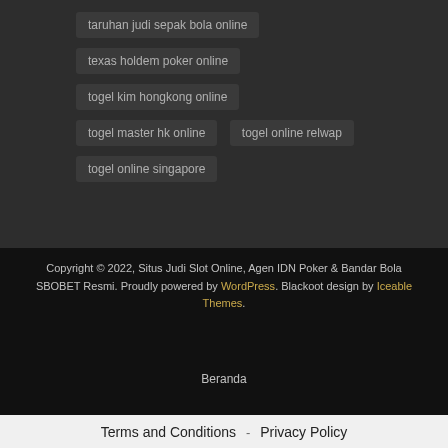taruhan judi sepak bola online
texas holdem poker online
togel kim hongkong online
togel master hk online
togel online relwap
togel online singapore
Copyright © 2022, Situs Judi Slot Online, Agen IDN Poker & Bandar Bola SBOBET Resmi. Proudly powered by WordPress. Blackoot design by Iceable Themes.
Beranda
Terms and Conditions - Privacy Policy